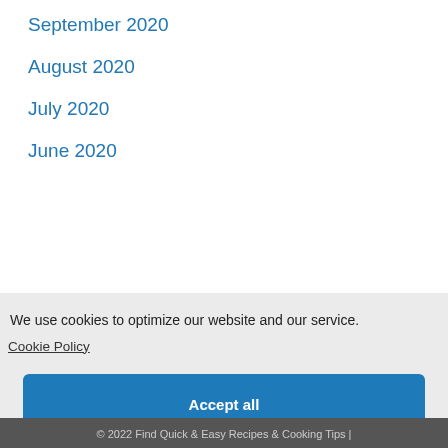September 2020
August 2020
July 2020
June 2020
We use cookies to optimize our website and our service.
Cookie Policy
Accept all
Functional only
View preferences
© 2022 Find Quick & Easy Recipes & Cooking Tips |